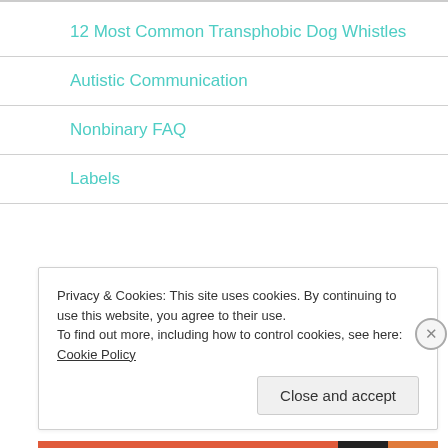12 Most Common Transphobic Dog Whistles
Autistic Communication
Nonbinary FAQ
Labels
ARCHIVES
Privacy & Cookies: This site uses cookies. By continuing to use this website, you agree to their use.
To find out more, including how to control cookies, see here: Cookie Policy
Close and accept